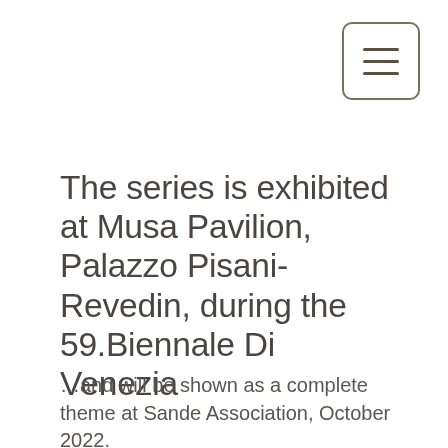[Figure (other): Hamburger menu button icon — three horizontal lines inside a rounded rectangle border]
The series is exhibited at Musa Pavilion, Palazzo Pisani-Revedin, during the 59.Biennale Di Venezia
…and will be shown as a complete theme at Sande Association, October 2022.
Ever since I was a child, I have wondered about life. I have thought and pondered, recreated, fantasized and composed, through happy prisms but also through other more demanding challenges. Society is demanding; who am I, alone, in interaction with others, nature, what is